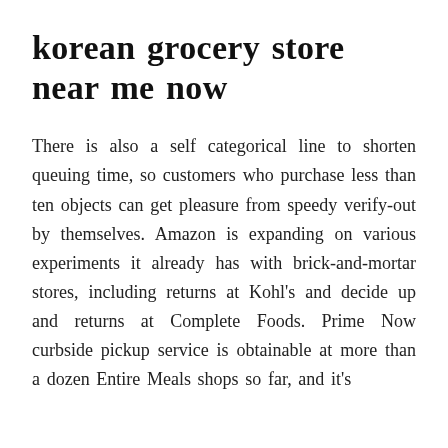korean grocery store near me now
There is also a self categorical line to shorten queuing time, so customers who purchase less than ten objects can get pleasure from speedy verify-out by themselves. Amazon is expanding on various experiments it already has with brick-and-mortar stores, including returns at Kohl's and decide up and returns at Complete Foods. Prime Now curbside pickup service is obtainable at more than a dozen Entire Meals shops so far, and it's